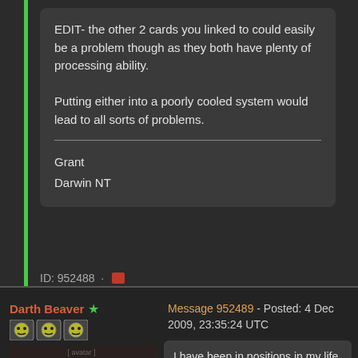EDIT- the other 2 cards you linked to could easily be a problem though as they both have plenty of processing ability.
Putting either into a poorly cooled system would lead to all sorts of problems.
Grant
Darwin NT
ID: 952488 ·
Darth Beaver
Message 952489 - Posted: 4 Dec 2009, 23:35:24 UTC
I have been in positions in my life aka superviser and have had to do risk assement for new tech if i had made a decision like what has be...